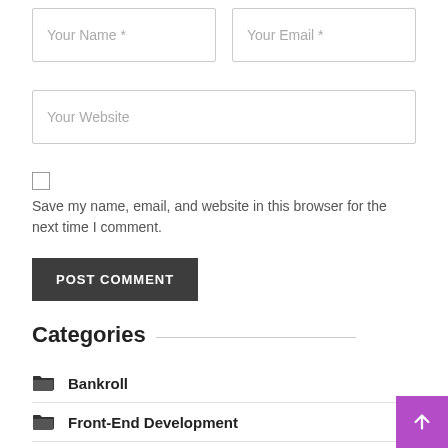Your Name *
Your Email *
Your Website
Save my name, email, and website in this browser for the next time I comment.
POST COMMENT
Categories
Bankroll
Front-End Development
Javascript
Programming